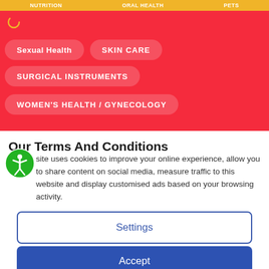NUTRITION | ORAL HEALTH | PETS
Sexual Health
SKIN CARE
SURGICAL INSTRUMENTS
WOMEN'S HEALTH / GYNECOLOGY
Our Terms And Conditions
site uses cookies to improve your online experience, allow you to share content on social media, measure traffic to this website and display customised ads based on your browsing activity.
Settings
Accept